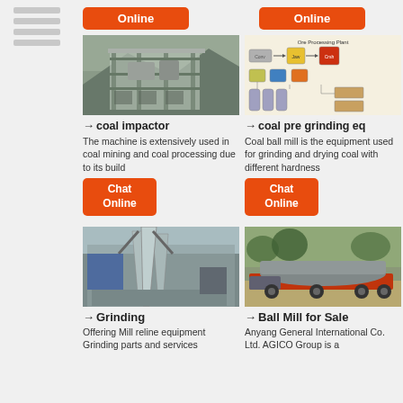[Figure (screenshot): Sidebar with horizontal lines/navigation]
Online (button, top left)
Online (button, top right)
[Figure (photo): Industrial coal impactor machine, steel structure outdoors]
→ coal impactor
The machine is extensively used in coal mining and coal processing due to its build
Chat Online (button)
[Figure (schematic): Ore Processing Plant diagram showing connected equipment components]
→ coal pre grinding eq
Coal ball mill is the equipment used for grinding and drying coal with different hardness
Chat Online (button)
[Figure (photo): Grinding mill equipment with large conical hoppers, industrial facility]
→ Grinding
Offering Mill reline equipment Grinding parts and services
[Figure (photo): Ball mill on flatbed truck/trailer outdoors]
→ Ball Mill for Sale
Anyang General International Co. Ltd. AGICO Group is a